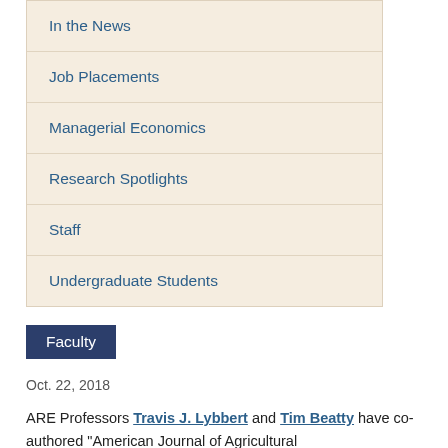In the News
Job Placements
Managerial Economics
Research Spotlights
Staff
Undergraduate Students
Faculty
Oct. 22, 2018
ARE Professors Travis J. Lybbert and Tim Beatty have co-authored "American Journal of Agricultural